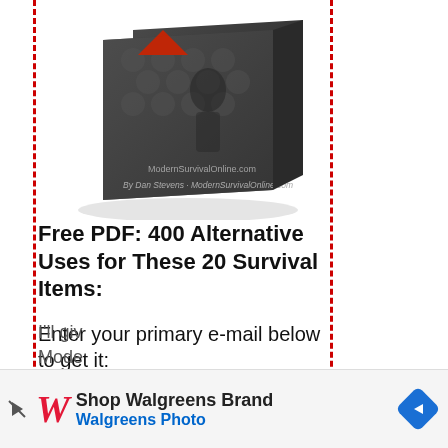[Figure (photo): Book/PDF product image of a survival guide by Dan Stevens - ModernSurvivalOnline.com, shown at an angle with a dark cover featuring a triangular graphic and a person in background]
Free PDF: 400 Alternative Uses for These 20 Survival Items:
Enter your primary e-mail below to get it:
[Figure (screenshot): Email input field with placeholder text 'Enter your best e-mail here' and a gray button labeled 'Get the PDF!']
I'll giv
Mode
[Figure (infographic): Walgreens advertisement banner: 'Shop Walgreens Brand Walgreens Photo' with Walgreens logo W in red italic, play button icon, and blue diamond arrow icon]